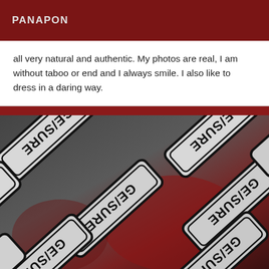PANAPON
all very natural and authentic. My photos are real, I am without taboo or end and I always smile. I also like to dress in a daring way.
[Figure (photo): Photo of multiple censure signs (white rectangular signs with black text reading CENSURE, displayed upside-down/rotated at various angles) arranged on a dark blurred background with red tones.]